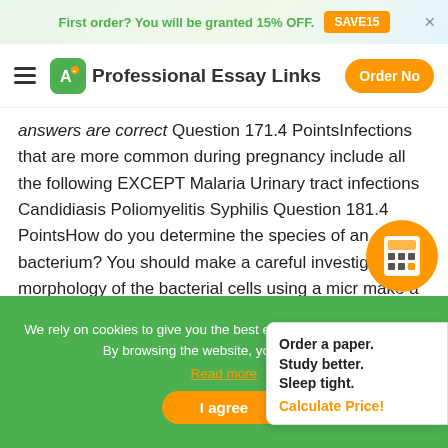First order? You will be granted 15% OFF. SAVE15
Professional Essay Links | Order Now
answers are correct Question 171.4 PointsInfections that are more common during pregnancy include all the following EXCEPT Malaria Urinary tract infections Candidiasis Poliomyelitis Syphilis Question 181.4 PointsHow do you determine the species of an bacterium? You should make a careful investigation morphology of the bacterial cells using a micro make a firm identification. You need to quantify the number of bacteria in the same to determine the s Identification can only be made based on the pat signs and symptoms. You use standard tests and p
Order a paper. Study better. Sleep tight. Calculate Price!
We rely on cookies to give you the best experience on our website. By browsing the website, you agree to it. Read more
I agree